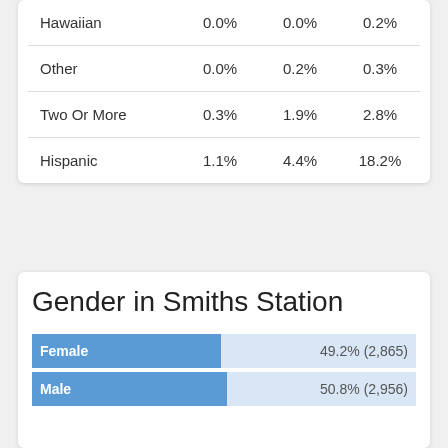| Hawaiian | 0.0% | 0.0% | 0.2% |
| Other | 0.0% | 0.2% | 0.3% |
| Two Or More | 0.3% | 1.9% | 2.8% |
| Hispanic | 1.1% | 4.4% | 18.2% |
Gender in Smiths Station
[Figure (bar-chart): Gender in Smiths Station]